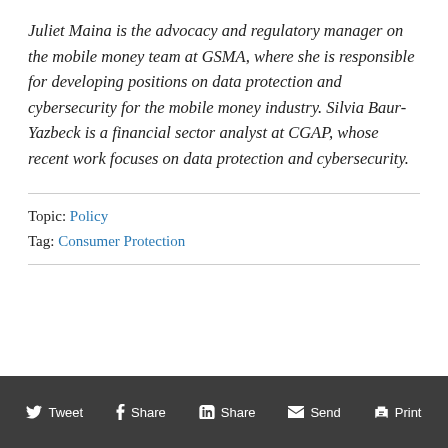Juliet Maina is the advocacy and regulatory manager on the mobile money team at GSMA, where she is responsible for developing positions on data protection and cybersecurity for the mobile money industry. Silvia Baur-Yazbeck is a financial sector analyst at CGAP, whose recent work focuses on data protection and cybersecurity.
Topic: Policy
Tag: Consumer Protection
Tweet  Share  Share  Send  Print